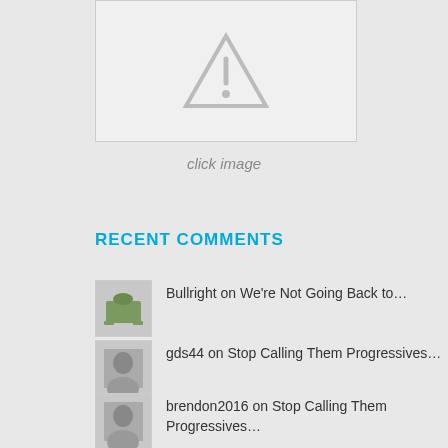[Figure (other): Broken image placeholder with warning triangle icon on light gray background]
click image
RECENT COMMENTS
Bullright on We're Not Going Back to…
gds44 on Stop Calling Them Progressives…
brendon2016 on Stop Calling Them Progressives…
brendon2016 on High-Ranking Chinese Defector…